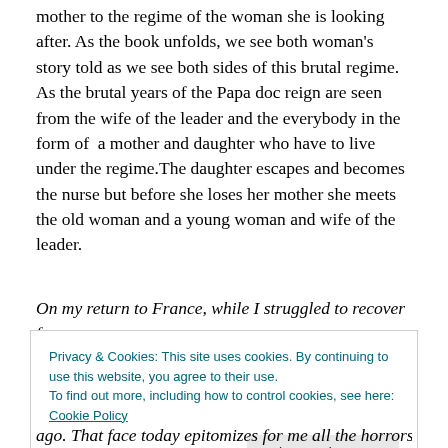mother to the regime of the woman she is looking after. As the book unfolds, we see both woman's story told as we see both sides of this brutal regime. As the brutal years of the Papa doc reign are seen from the wife of the leader and the everybody in the form of a mother and daughter who have to live under the regime.The daughter escapes and becomes the nurse but before she loses her mother she meets the old woman and a young woman and wife of the leader.
On my return to France, while I struggled to recover from
Privacy & Cookies: This site uses cookies. By continuing to use this website, you agree to their use. To find out more, including how to control cookies, see here: Cookie Policy
Close and accept
ago. That face today epitomizes for me all the horrors od a